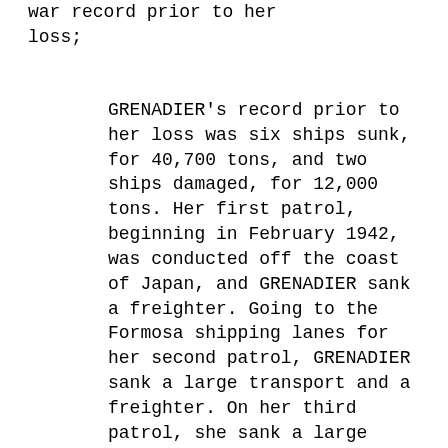war record prior to her loss;
GRENADIER's record prior to her loss was six ships sunk, for 40,700 tons, and two ships damaged, for 12,000 tons. Her first patrol, beginning in February 1942, was conducted off the coast of Japan, and GRENADIER sank a freighter. Going to the Formosa shipping lanes for her second patrol, GRENADIER sank a large transport and a freighter. On her third patrol, she sank a large tanker. GRENADIER's fourth patrol was a mining mission in the South China Sea, and she damaged no enemy shipping. On her fifth patrol, this vessel